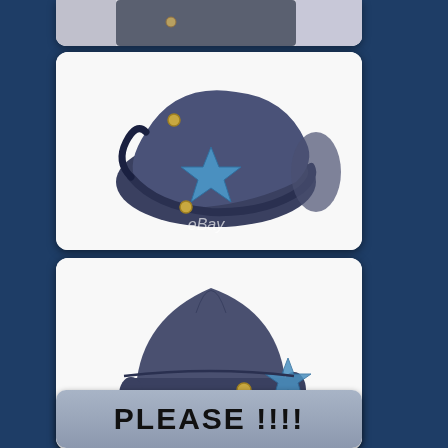[Figure (photo): Partial view of a dark blue Civil War era military cap/hat with a blue star emblem, shown from the side, with eBay watermark - partially cropped at top of page]
[Figure (photo): Dark blue Civil War era military forage cap or bummer cap with a blue star emblem on the front and chin strap buttons visible, side/front view on white background with eBay watermark]
[Figure (photo): Dark blue Civil War era military cap shown from behind/top, displaying the pointed top and folded brim with button and partial blue star visible, on white background with eBay watermark]
PLEASE !!!!